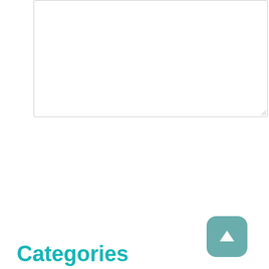[Figure (screenshot): Textarea input box (empty, resizable) for entering a comment]
Submit Comment
[Figure (screenshot): Search input text field (empty)]
Search
Categories